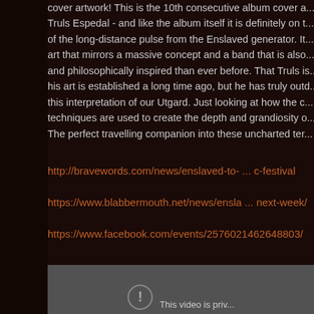cover artwork! This is the 10th consecutive album cover a... Truls Espedal - and like the album itself it is definitely on t... of the long-distance pulse from the Enslaved generator. It... art that mirrors a massive concept and a band that is also... and philosophically inspired than ever before. That Truls is... his art is established a long time ago, but he has truly outd... this interpretation of our Utgard. Just looking at how the c... techniques are used to create the depth and grandiosity o... The perfect travelling companion into these uncharted ter...
http://bravewords.com/news/enslaved-to- ... c-festival
https://www.blabbermouth.net/news/ensla ... next-week/
https://www.facebook.com/events/2576021462648803/
[Figure (screenshot): A gray video player thumbnail with a warning/info icon and partial text 'This video is priv...' at the bottom]